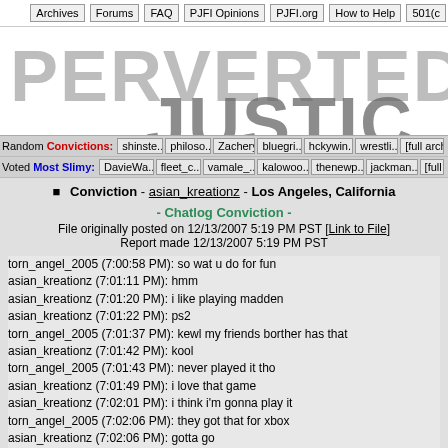Archives | Forums | FAQ | PJFI Opinions | PJFI.org | How to Help | 501(c)
[Figure (logo): Perverted Justice website logo with large distressed text reading PERVERTED JUSTICE]
Random Convictions: shinste... | philoso... | Zachery | bluegri... | hckywin... | wrestli... | [full arch
Voted Most Slimy: DavieWa... | fleet_c... | vamale_... | kalowoo... | thenewp... | jackman... | [full
Conviction - asian_kreationz - Los Angeles, California
- Chatlog Conviction -
File originally posted on 12/13/2007 5:19 PM PST [Link to File]
Report made 12/13/2007 5:19 PM PST
torn_angel_2005 (7:00:58 PM): so wat u do for fun
asian_kreationz (7:01:11 PM): hmm
asian_kreationz (7:01:20 PM): i like playing madden
asian_kreationz (7:01:22 PM): ps2
torn_angel_2005 (7:01:37 PM): kewl my friends borther has that
asian_kreationz (7:01:42 PM): kool
torn_angel_2005 (7:01:43 PM): never played it tho
asian_kreationz (7:01:49 PM): i love that game
asian_kreationz (7:02:01 PM): i think i'm gonna play it
torn_angel_2005 (7:02:06 PM): they got that for xbox
asian_kreationz (7:02:06 PM): gotta go
asian_kreationz (7:02:07 PM): bye
torn_angel_2005 (7:02:12 PM): lol k